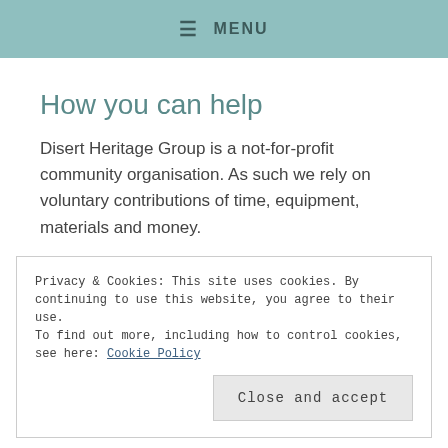≡ MENU
How you can help
Disert Heritage Group is a not-for-profit community organisation. As such we rely on voluntary contributions of time, equipment, materials and money.
Privacy & Cookies: This site uses cookies. By continuing to use this website, you agree to their use. To find out more, including how to control cookies, see here: Cookie Policy
Close and accept